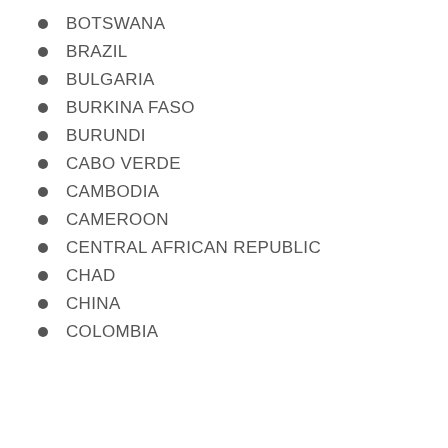BOTSWANA
BRAZIL
BULGARIA
BURKINA FASO
BURUNDI
CABO VERDE
CAMBODIA
CAMEROON
CENTRAL AFRICAN REPUBLIC
CHAD
CHINA
COLOMBIA